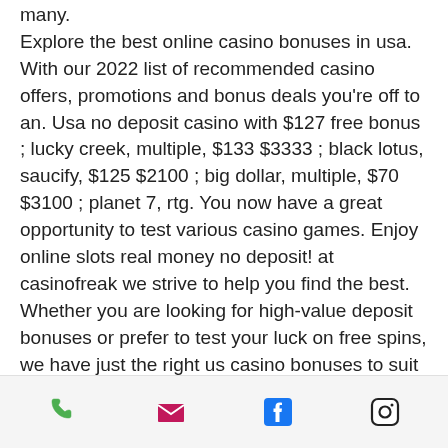many.
Explore the best online casino bonuses in usa. With our 2022 list of recommended casino offers, promotions and bonus deals you're off to an. Usa no deposit casino with $127 free bonus ; lucky creek, multiple, $133 $3333 ; black lotus, saucify, $125 $2100 ; big dollar, multiple, $70 $3100 ; planet 7, rtg. You now have a great opportunity to test various casino games. Enjoy online slots real money no deposit! at casinofreak we strive to help you find the best. Whether you are looking for high-value deposit bonuses or prefer to test your luck on free spins, we have just the right us casino bonuses to suit your taste. The best part is that you can keep what you win with most no deposit bonuses, making them a step above playing free slots. Best american online casinos bonuses 2022 | best online casino bonuses | bonus